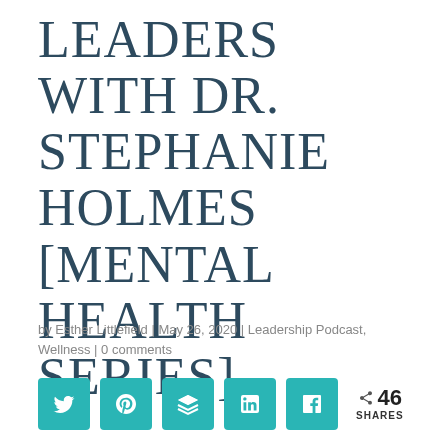LEADERS WITH DR. STEPHANIE HOLMES [MENTAL HEALTH SERIES]
by Esther Littlefield | May 26, 2020 | Leadership Podcast, Wellness | 0 comments
[Figure (infographic): Social share buttons: Twitter, Pinterest, Buffer/Layers, LinkedIn, Facebook icons in teal rounded squares, followed by a share count showing 46 SHARES]